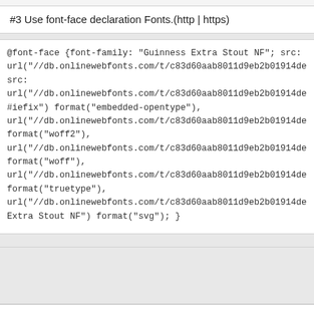#3 Use font-face declaration Fonts.(http | https)
@font-face {font-family: "Guinness Extra Stout NF"; src: url("//db.onlinewebfonts.com/t/c83d60aab8011d9eb2b01914de0
src:
url("//db.onlinewebfonts.com/t/c83d60aab8011d9eb2b01914de0
#iefix") format("embedded-opentype"),
url("//db.onlinewebfonts.com/t/c83d60aab8011d9eb2b01914de0
format("woff2"),
url("//db.onlinewebfonts.com/t/c83d60aab8011d9eb2b01914de0
format("woff"),
url("//db.onlinewebfonts.com/t/c83d60aab8011d9eb2b01914de0
format("truetype"),
url("//db.onlinewebfonts.com/t/c83d60aab8011d9eb2b01914de0
Extra Stout NF") format("svg"); }
DOWNLOAD FORMAT